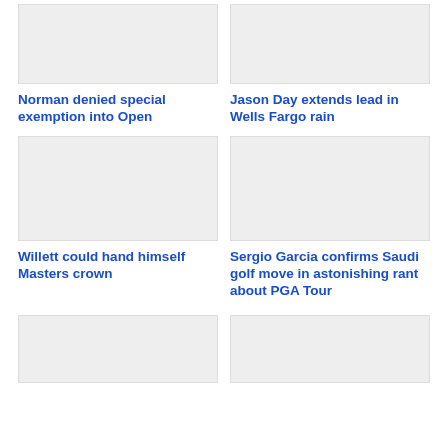[Figure (photo): Image placeholder top left - golf article image]
Norman denied special exemption into Open
[Figure (photo): Image placeholder top right - golf article image]
Jason Day extends lead in Wells Fargo rain
[Figure (photo): Image placeholder middle left - golf article image]
Willett could hand himself Masters crown
[Figure (photo): Image placeholder middle right - golf article image]
Sergio Garcia confirms Saudi golf move in astonishing rant about PGA Tour
[Figure (photo): Image placeholder bottom left - golf article image]
[Figure (photo): Image placeholder bottom right - golf article image]